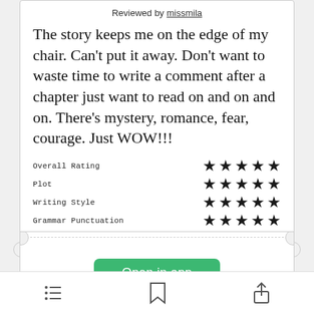Reviewed by missmila
The story keeps me on the edge of my chair. Can't put it away. Don't want to waste time to write a comment after a chapter just want to read on and on and on. There's mystery, romance, fear, courage. Just WOW!!!
| Category | Rating |
| --- | --- |
| Overall Rating | ★★★★★ |
| Plot | ★★★★★ |
| Writing Style | ★★★★★ |
| Grammar Punctuation | ★★★★★ |
Open in app